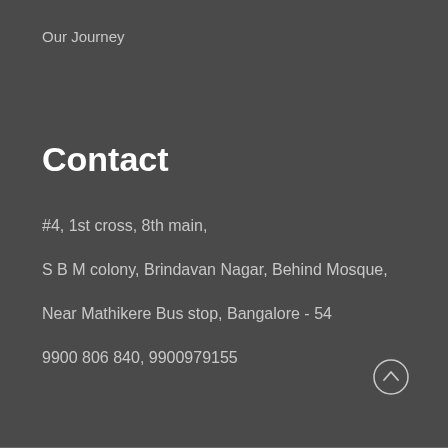Our Journey
Contact
#4, 1st cross, 8th main,
S B M colony, Brindavan Nagar, Behind Mosque,
Near Mathikere Bus stop, Bangalore - 54
9900 806 840, 9900979155